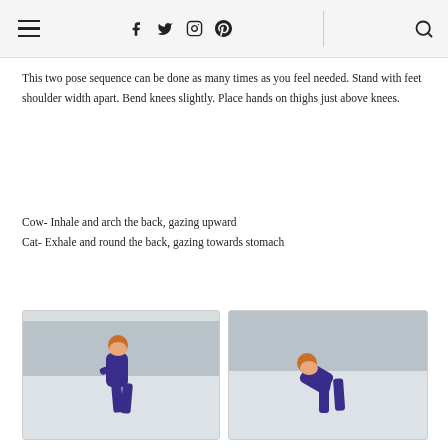Navigation header with hamburger menu, social icons (f, twitter, instagram, pinterest), and search icon
This two pose sequence can be done as many times as you feel needed. Stand with feet shoulder width apart. Bend knees slightly. Place hands on thighs just above knees.
Cow- Inhale and arch the back, gazing upward
Cat- Exhale and round the back, gazing towards stomach
[Figure (photo): Person in purple athletic wear and red hat standing outdoors in snow, arching back (Cow pose)]
[Figure (photo): Person in purple athletic wear and red hat standing outdoors in snow, rounding back forward (Cat pose)]